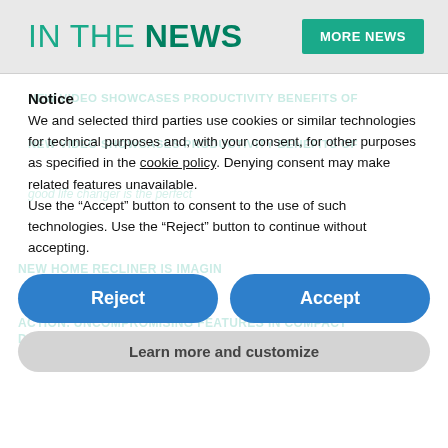IN THE NEWS
Notice
We and selected third parties use cookies or similar technologies for technical purposes and, with your consent, for other purposes as specified in the cookie policy. Denying consent may make related features unavailable.
Use the “Accept” button to consent to the use of such technologies. Use the “Reject” button to continue without accepting.
Reject
Accept
Learn more and customize